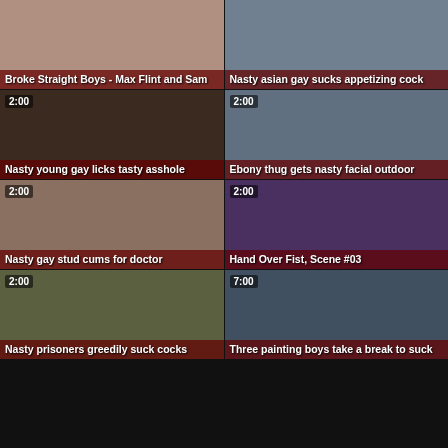[Figure (photo): Video thumbnail grid showing 10 video thumbnails in 2 columns with titles and duration badges]
Broke Straight Boys - Max Flint and Sam
Nasty asian gay sucks appetizing cock
Nasty young gay licks tasty asshole
Ebony thug gets nasty facial outdoor
Nasty gay stud cums for doctor
Hand Over Fist, Scene #03
Nasty prisoners greedily suck cocks
Three painting boys take a break to suck